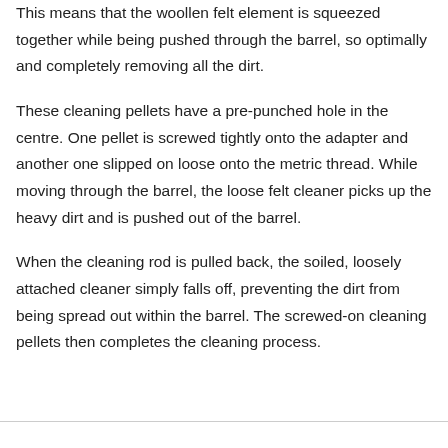This means that the woollen felt element is squeezed together while being pushed through the barrel, so optimally and completely removing all the dirt.
These cleaning pellets have a pre-punched hole in the centre. One pellet is screwed tightly onto the adapter and another one slipped on loose onto the metric thread. While moving through the barrel, the loose felt cleaner picks up the heavy dirt and is pushed out of the barrel.
When the cleaning rod is pulled back, the soiled, loosely attached cleaner simply falls off, preventing the dirt from being spread out within the barrel. The screwed-on cleaning pellets then completes the cleaning process.